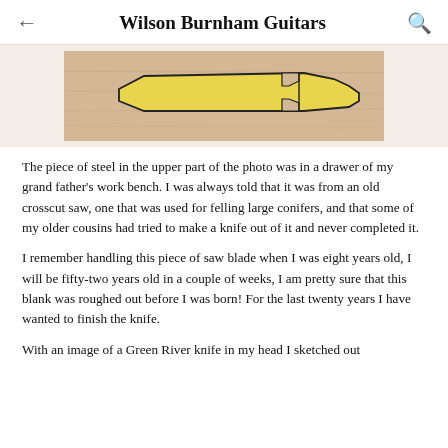Wilson Burnham Guitars
[Figure (photo): A yellow-painted knife blank (roughly cut piece of steel in the shape of a knife) lying on a light wood surface.]
The piece of steel in the upper part of the photo was in a drawer of my grand father’s work bench. I was always told that it was from an old crosscut saw, one that was used for felling large conifers, and that some of my older cousins had tried to make a knife out of it and never completed it.
I remember handling this piece of saw blade when I was eight years old, I will be fifty-two years old in a couple of weeks, I am pretty sure that this blank was roughed out before I was born! For the last twenty years I have wanted to finish the knife.
With an image of a Green River knife in my head I sketched out